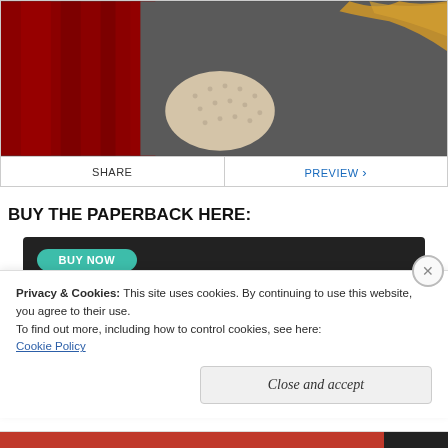[Figure (photo): Cropped photo showing a person in a grey top wearing a lace/patterned glove, with red curtain fabric visible to the left and blonde hair visible at top right.]
SHARE
PREVIEW >
BUY THE PAPERBACK HERE:
[Figure (screenshot): Dark banner with teal/green rounded button partially visible at top of a book purchase widget.]
Privacy & Cookies: This site uses cookies. By continuing to use this website, you agree to their use.
To find out more, including how to control cookies, see here: Cookie Policy
Close and accept